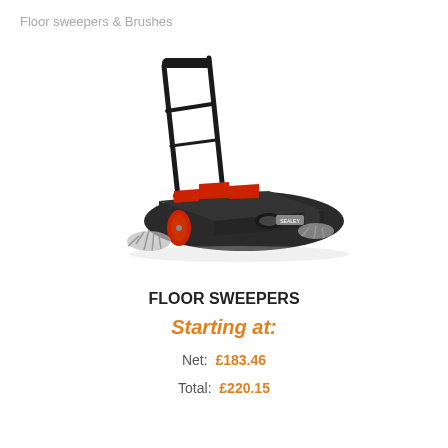Floor sweepers & Brushes
[Figure (photo): A floor sweeper (push-type manual sweeper) with a black body, red accent panels, side brushes, and a tall black tubular handle. Brand label visible on the body.]
FLOOR SWEEPERS
Starting at:
Net:  £183.46
Total:  £220.15